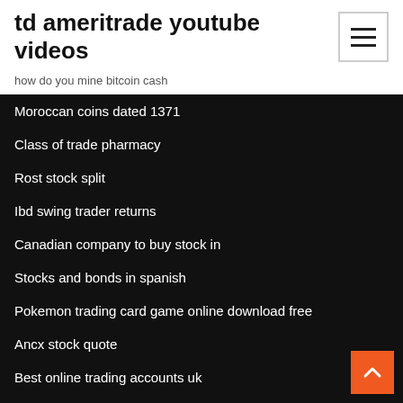td ameritrade youtube videos
how do you mine bitcoin cash
Moroccan coins dated 1371
Class of trade pharmacy
Rost stock split
Ibd swing trader returns
Canadian company to buy stock in
Stocks and bonds in spanish
Pokemon trading card game online download free
Ancx stock quote
Best online trading accounts uk
Fxpro usdtry